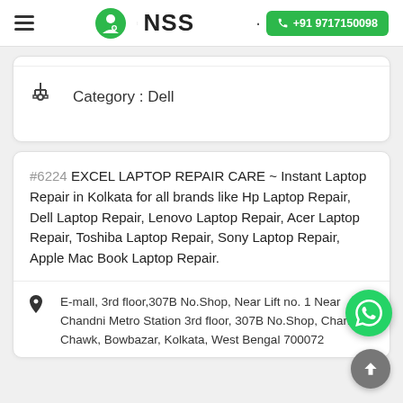NSS | +91 9717150098
Category : Dell
#6224 EXCEL LAPTOP REPAIR CARE ~ Instant Laptop Repair in Kolkata for all brands like Hp Laptop Repair, Dell Laptop Repair, Lenovo Laptop Repair, Acer Laptop Repair, Toshiba Laptop Repair, Sony Laptop Repair, Apple Mac Book Laptop Repair.
E-mall, 3rd floor,307B No.Shop, Near Lift no. 1 Near Chandni Metro Station 3rd floor, 307B No.Shop, Chandni Chawk, Bowbazar, Kolkata, West Bengal 700072